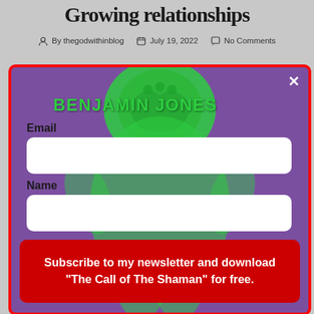Growing relationships
By thegodwithinblog   July 19, 2022   No Comments
[Figure (screenshot): A modal popup dialog with a purple background featuring a green illustrated figure (Benjamin Jones artwork). The modal has a red border, a close (×) button, an Email label with white input field, a Name label with white input field, and a red Subscribe button reading 'Subscribe to my newsletter and download "The Call of The Shaman" for free.']